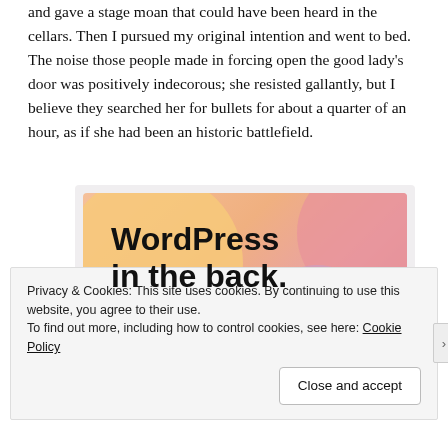and gave a stage moan that could have been heard in the cellars. Then I pursued my original intention and went to bed. The noise those people made in forcing open the good lady's door was positively indecorous; she resisted gallantly, but I believe they searched her for bullets for about a quarter of an hour, as if she had been an historic battlefield.
[Figure (illustration): WordPress in the back. Decorative banner image with orange, pink, and purple circles on an orange gradient background.]
Privacy & Cookies: This site uses cookies. By continuing to use this website, you agree to their use.
To find out more, including how to control cookies, see here: Cookie Policy